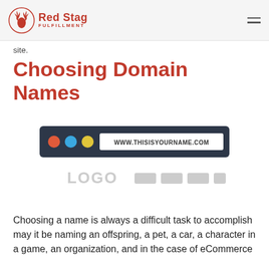Red Stag Fulfillment
site.
Choosing Domain Names
[Figure (screenshot): Browser address bar mockup showing WWW.THISISYOURNAME.COM with traffic light dots, below it a placeholder with LOGO text and gray navigation blocks]
Choosing a name is always a difficult task to accomplish may it be naming an offspring, a pet, a car, a character in a game, an organization, and in the case of eCommerce